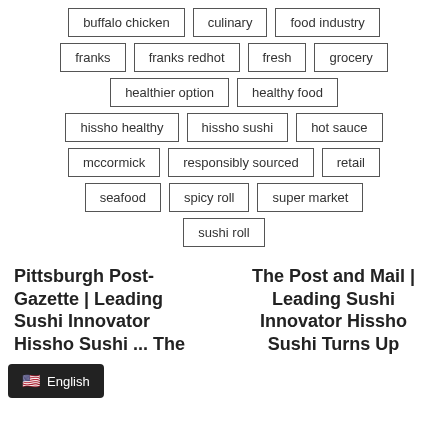buffalo chicken
culinary
food industry
franks
franks redhot
fresh
grocery
healthier option
healthy food
hissho healthy
hissho sushi
hot sauce
mccormick
responsibly sourced
retail
seafood
spicy roll
super market
sushi roll
Pittsburgh Post-Gazette | Leading Sushi Innovator Hissho Sushi ... The
The Post and Mail | Leading Sushi Innovator Hissho Sushi Turns Up
English